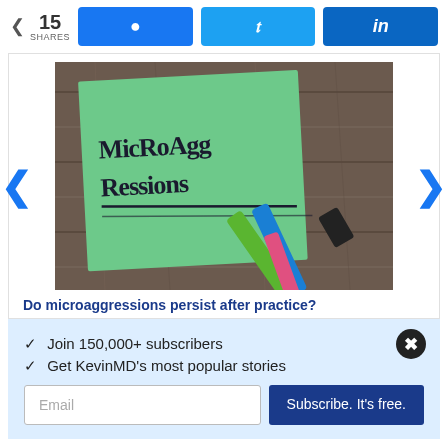15 SHARES
[Figure (photo): A green sticky note with 'MicroAggressions' written in black marker and underlined, placed on a wooden surface next to green, blue and pink pens/markers.]
Do microaggressions persist after practice?
✓  Join 150,000+ subscribers
✓  Get KevinMD's most popular stories
Email  |  Subscribe. It's free.